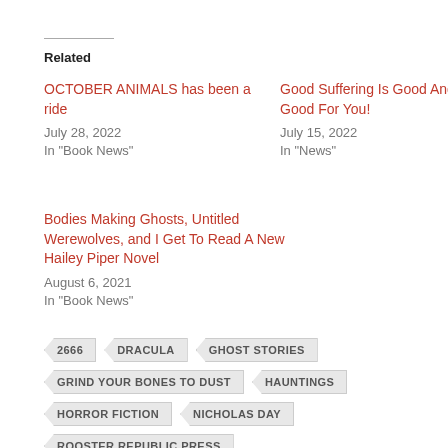Related
OCTOBER ANIMALS has been a ride
July 28, 2022
In "Book News"
Good Suffering Is Good And Good For You!
July 15, 2022
In "News"
Bodies Making Ghosts, Untitled Werewolves, and I Get To Read A New Hailey Piper Novel
August 6, 2021
In "Book News"
2666
DRACULA
GHOST STORIES
GRIND YOUR BONES TO DUST
HAUNTINGS
HORROR FICTION
NICHOLAS DAY
ROOSTER REPUBLIC PRESS